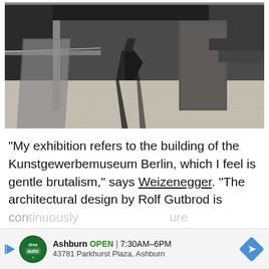[Figure (photo): Interior architectural photo showing a brutalist space with concrete walls, geometric furniture including a black angular chair, stone floor tiles, and minimal decor in dark grey tones.]
"My exhibition refers to the building of the Kunstgewerbemuseum Berlin, which I feel is gentle brutalism," says Weizenegger. "The architectural design by Rolf Gutbrod is con[tinuously...] ure is w[...] the
[Figure (other): Advertisement banner: Ashburn OPEN 7:30AM-6PM, 43781 Parkhurst Plaza, Ashburn. Shows a circular green logo with 'auto' text and a navigation arrow icon.]